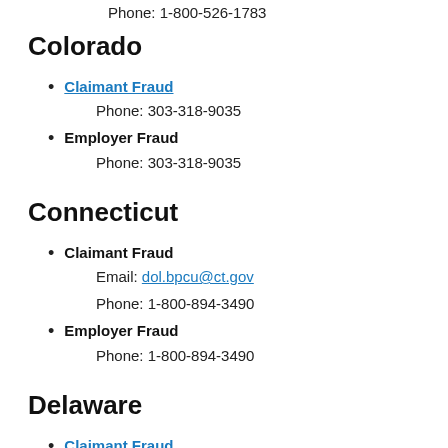Phone: 1-800-526-1783
Colorado
Claimant Fraud
Phone: 303-318-9035
Employer Fraud
Phone: 303-318-9035
Connecticut
Claimant Fraud
Email: dol.bpcu@ct.gov
Phone: 1-800-894-3490
Employer Fraud
Phone: 1-800-894-3490
Delaware
Claimant Fraud